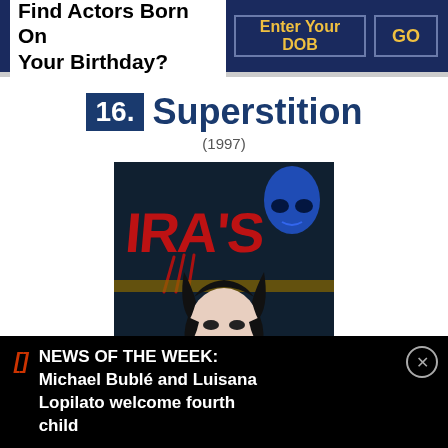Find Actors Born On Your Birthday?
Enter Your DOB
GO
16. Superstition (1997)
[Figure (photo): Movie poster for Superstition (1997) showing horror imagery with text 'IRA'S' in red letters, a blue alien-like skull in the upper right, and a dark-haired woman with red lips in the foreground]
NEWS OF THE WEEK: Michael Bublé and Luisana Lopilato welcome fourth child